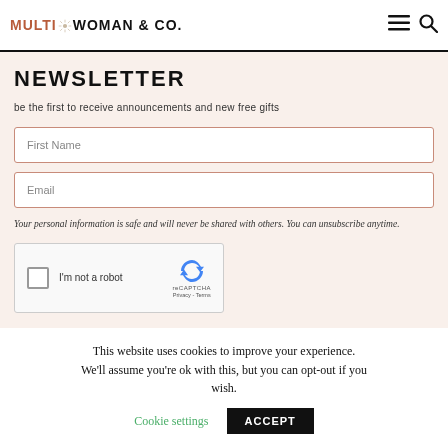MULTIWOMAN & CO.
NEWSLETTER
be the first to receive announcements and new free gifts
First Name
Email
Your personal information is safe and will never be shared with others. You can unsubscribe anytime.
[Figure (other): reCAPTCHA widget with checkbox labeled I'm not a robot]
This website uses cookies to improve your experience. We'll assume you're ok with this, but you can opt-out if you wish. Cookie settings ACCEPT